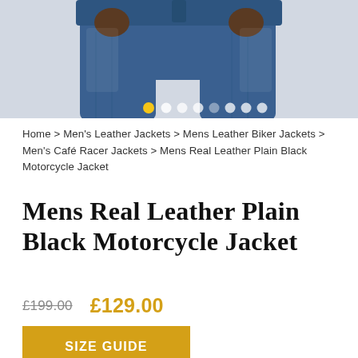[Figure (photo): Product image area showing a person wearing blue jeans, with carousel navigation dots at the bottom. First dot is yellow/active, remaining dots are white/light.]
Home > Men's Leather Jackets > Mens Leather Biker Jackets > Men's Café Racer Jackets > Mens Real Leather Plain Black Motorcycle Jacket
Mens Real Leather Plain Black Motorcycle Jacket
£199.00  £129.00
SIZE GUIDE
Size
XXS  XS  S  M